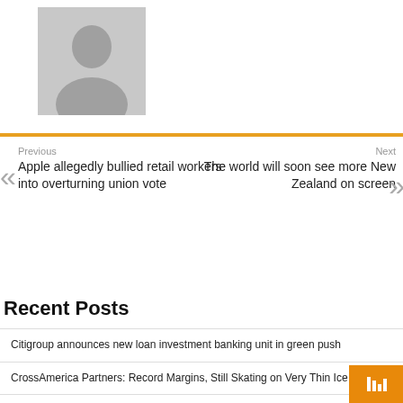[Figure (illustration): Default user avatar silhouette placeholder image, grey background with person outline]
Previous
Apple allegedly bullied retail workers into overturning union vote
Next
The world will soon see more New Zealand on screen
Recent Posts
Citigroup announces new loan investment banking unit in green push
CrossAmerica Partners: Record Margins, Still Skating on Very Thin Ice (CAPL)
Trish Wescoat Pound's TWP is gaining ground at retail – WWD
Monkeypox 'rare' in children, but schools need to be cautious
Everest Insurance® Division Continues Strategic U.S. Wholesale Expansion